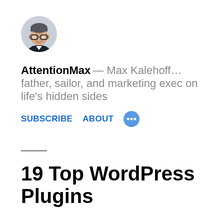[Figure (photo): Circular avatar photo of a man wearing glasses and a dark suit jacket, smiling.]
AttentionMax — Max Kalehoff… father, sailor, and marketing exec on life's hidden sides
SUBSCRIBE
ABOUT
19 Top WordPress Plugins